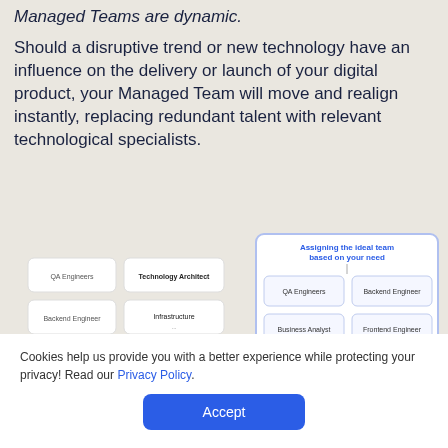Managed Teams are dynamic.
Should a disruptive trend or new technology have an influence on the delivery or launch of your digital product, your Managed Team will move and realign instantly, replacing redundant talent with relevant technological specialists.
[Figure (organizational-chart): Diagram showing team assignment boxes: left side shows QA Engineers, Technology Architect, Backend Engineer, Infrastructure; right side (highlighted with blue border) shows QA Engineers, Backend Engineer, Business Analyst, Frontend Engineer, with header 'Assigning the ideal team based on your need']
Cookies help us provide you with a better experience while protecting your privacy! Read our Privacy Policy.